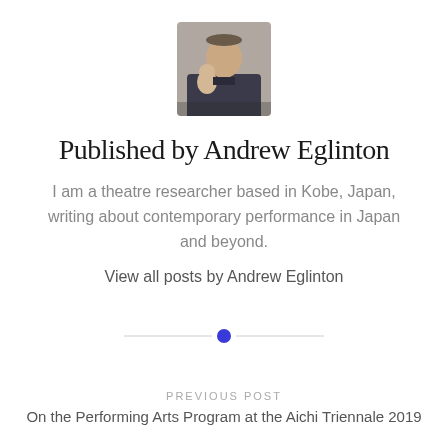[Figure (photo): Author avatar photo of Andrew Eglinton, a man holding a baby]
Published by Andrew Eglinton
I am a theatre researcher based in Kobe, Japan, writing about contemporary performance in Japan and beyond.
View all posts by Andrew Eglinton
[Figure (other): Horizontal divider with a blue dot in the center]
PREVIOUS POST
On the Performing Arts Program at the Aichi Triennale 2019